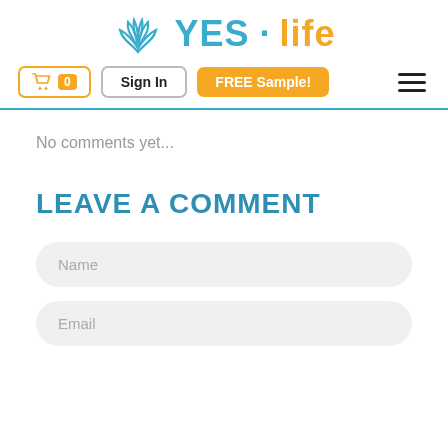[Figure (logo): YES·life logo with lotus flower icon. YES in blue, life in orange.]
[Figure (screenshot): Navigation bar with cart button (0 items), Sign In button, FREE Sample! orange button, and hamburger menu icon.]
No comments yet...
LEAVE A COMMENT
Name
Email